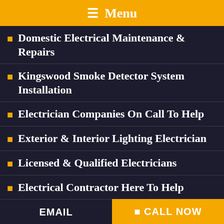Menu
Domestic Electrical Maintenance & Repairs
Kingswood Smoke Detector System Installation
Electrician Companies On Call To Help
Exterior & Interior Lighting Electrician
Licensed & Qualified Electricians
Electrical Contractor Here To Help
EMAIL    CALL NOW